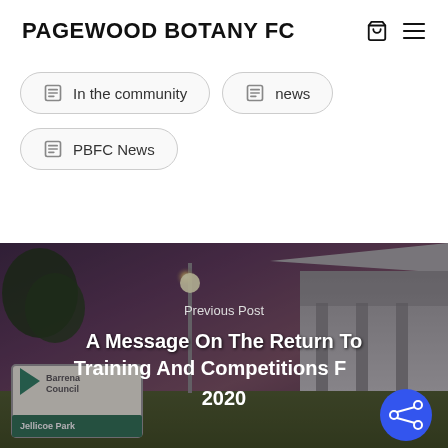PAGEWOOD BOTANY FC
In the community
news
PBFC News
[Figure (photo): Night-time photo of Jellicoe Park with illuminated sports field, building, tree, and park sign in foreground. Overlay text reads 'Previous Post: A Message On The Return To Training And Competitions For 2020']
Previous Post
A Message On The Return To Training And Competitions For 2020